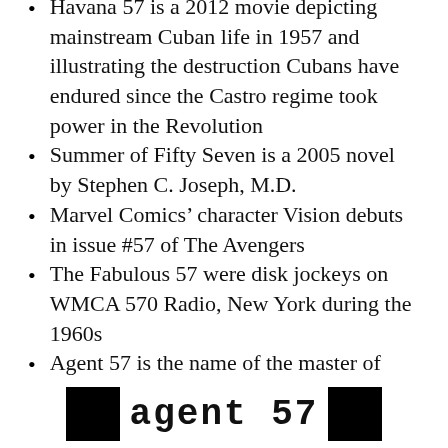Havana 57 is a 2012 movie depicting mainstream Cuban life in 1957 and illustrating the destruction Cubans have endured since the Castro regime took power in the Revolution
Summer of Fifty Seven is a 2005 novel by Stephen C. Joseph, M.D.
Marvel Comics’ character Vision debuts in issue #57 of The Avengers
The Fabulous 57 were disk jockeys on WMCA 570 Radio, New York during the 1960s
Agent 57 is the name of the master of disguise in the television series Dangermouse
[Figure (logo): Logo image showing two black squares flanking the text 'agent 57' in a bold monospace/typewriter font]